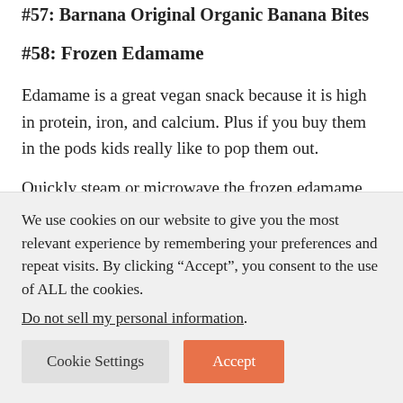#57: Barnana Original Organic Banana Bites
#58: Frozen Edamame
Edamame is a great vegan snack because it is high in protein, iron, and calcium. Plus if you buy them in the pods kids really like to pop them out.
Quickly steam or microwave the frozen edamame for
We use cookies on our website to give you the most relevant experience by remembering your preferences and repeat visits. By clicking “Accept”, you consent to the use of ALL the cookies.
Do not sell my personal information.